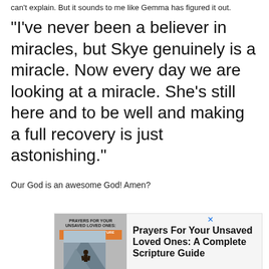can't explain. But it sounds to me like Gemma has figured it out.
“I’ve never been a believer in miracles, but Skye genuinely is a miracle. Now every day we are looking at a miracle. She’s still here and to be well and making a full recovery is just astonishing.”
Our God is an awesome God! Amen?
[Figure (illustration): Advertisement for a book titled 'Prayers For Your Unsaved Loved Ones: A Complete Scripture Guide', showing the book cover with a person standing on a mountain, alongside bold text of the book title.]